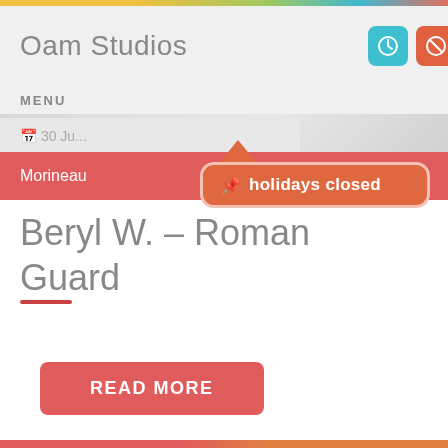[Figure (screenshot): Mobile app UI screenshot showing 'Oam Studios' header with blue clock icon and red-orange no-entry icon, MENU label, date row, Morineau label on red bar, and an orange tooltip badge reading 'holidays closed' with a pushpin icon]
Beryl W. – Roman Guard
READ MORE